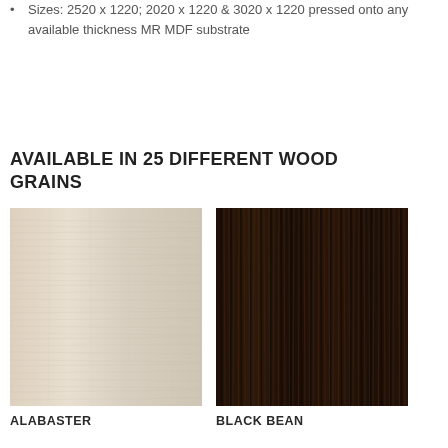Sizes: 2520 x 1220; 2020 x 1220 & 3020 x 1220 pressed onto any available thickness MR MDF substrate
AVAILABLE IN 25 DIFFERENT WOOD GRAINS
[Figure (illustration): Two wood grain sample swatches side by side: left is Alabaster (light beige/cream wood grain), right is Black Bean (very dark brown/ebony wood grain with vertical striping)]
ALABASTER
BLACK BEAN